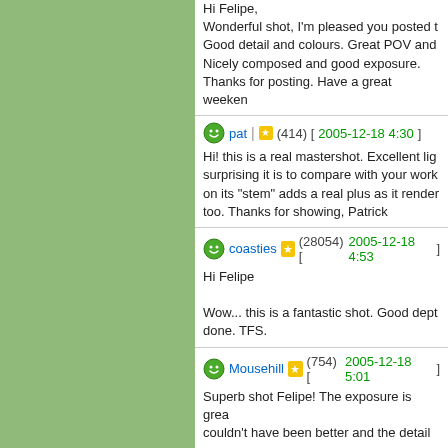Hi Felipe,
Wonderful shot, I'm pleased you posted t...
Good detail and colours. Great POV and...
Nicely composed and good exposure.
Thanks for posting. Have a great weeken...
pat | ★ (414) [2005-12-18 4:30]
Hi! this is a real mastershot. Excellent lig... surprising it is to compare with your work... on its "stem" adds a real plus as it render... too. Thanks for showing, Patrick
coasties | ★ (28054) [2005-12-18 4:53]
Hi Felipe

Wow... this is a fantastic shot. Good dept... done. TFS.
Mousehill | ★ (754) [2005-12-18 5:01]
Superb shot Felipe! The exposure is grea... couldn't have been better and the detail o... Masterfull image, TFS!
hummingbird24 | ★ (64) [2005-12-18 10:5...]
Nicely captured Felipe!

This is lovely with wonderful details, colo...